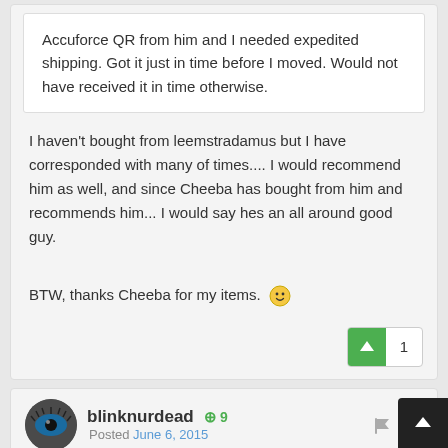Accuforce QR from him and I needed expedited shipping. Got it just in time before I moved. Would not have received it in time otherwise.
I haven't bought from leemstradamus but I have corresponded with many of times.... I would recommend him as well, and since Cheeba has bought from him and recommends him... I would say hes an all around good guy.
BTW, thanks Cheeba for my items. 🙂
blinknurdead +9 Posted June 6, 2015